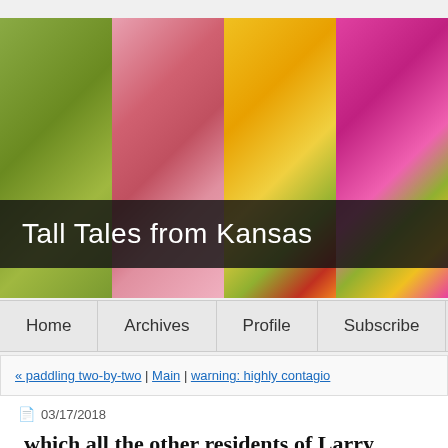[Figure (photo): Header banner showing four panels of colorful flowers (zinnia-like): green, pink/magenta, yellow/orange/red, and pink/magenta blooms against a dark semi-transparent overlay with the blog title 'Tall Tales from Kansas']
Tall Tales from Kansas
Home | Archives | Profile | Subscribe
« paddling two-by-two | Main | warning: highly contagio...
03/17/2018
which all the other residents of Larry Town m... be eating.